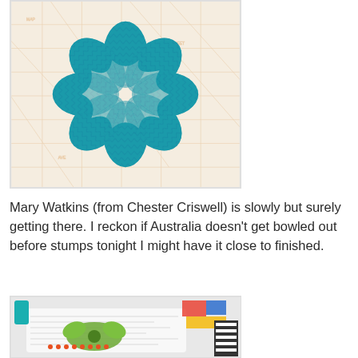[Figure (photo): A teal/turquoise floral quilt block appliqué on a cream background with orange map print. The flower has layered petals and a circular center, with small sequins or pins visible.]
Mary Watkins (from Chester Criswell) is slowly but surely getting there. I reckon if Australia doesn't get bowled out before stumps tonight I might have it close to finished.
[Figure (photo): A work-in-progress quilt block on a white and black newspaper-print fabric, featuring a green floral motif, surrounded by colorful fabric pieces and sewing supplies on a worktable.]